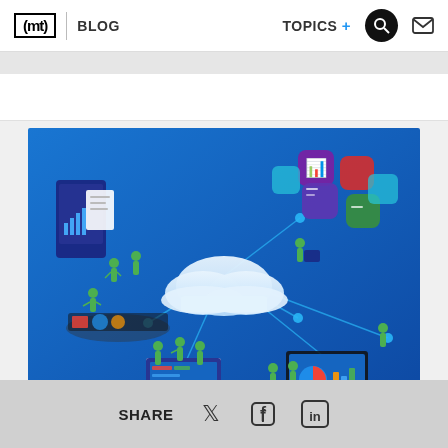(mt) BLOG | TOPICS + [search] [mail]
[Figure (illustration): Isometric cloud computing illustration showing multiple figures in teal/green outfits working with data dashboards, laptops, tablets and desktop monitors, all connected by lines to a central white cloud icon, with colorful app icons floating above on a blue gradient background]
SHARE